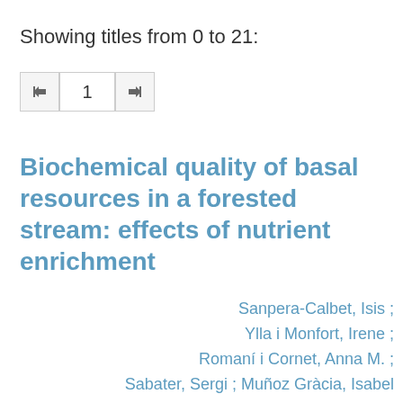Showing titles from 0 to 21:
1
Biochemical quality of basal resources in a forested stream: effects of nutrient enrichment
Sanpera-Calbet, Isis ; Ylla i Monfort, Irene ; Romaní i Cornet, Anna M. ; Sabater, Sergi ; Muñoz Gràcia, Isabel